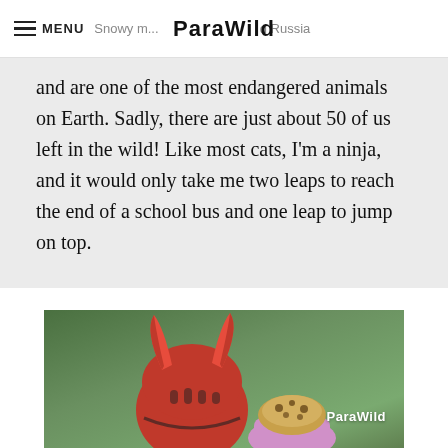MENU | Snowy m... | ParaWild | ...d Russia
and are one of the most endangered animals on Earth. Sadly, there are just about 50 of us left in the wild! Like most cats, I'm a ninja, and it would only take me two leaps to reach the end of a school bus and one leap to jump on top.
[Figure (photo): Person wearing a red bike helmet with red devil horns attached, and another person wearing a pink outfit with leopard print accessories, photographed from behind against a green leafy background. ParaWild watermark in lower right.]